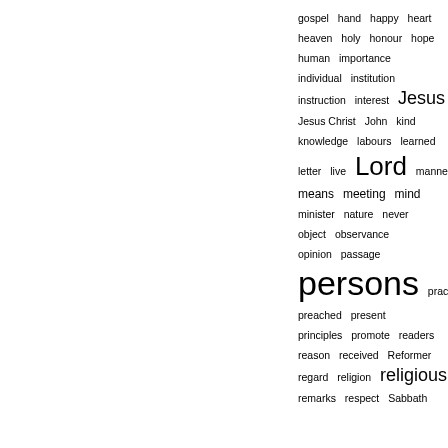[Figure (other): A word cloud / tag cloud in blue text showing religious and theological terms with varying font sizes indicating frequency. Terms include: gospel, hand, happy, heart, heaven, holy, honour, hope, human, importance, individual, institution, instruction, interest, Jesus (large), Jesus Christ, John, kind, knowledge, labours, learned, letter, live, Lord (large), manner, means, meeting, mind, minister, nature, never, object, observance, opinion, passage, persons (very large), practice, prayer, preached, present, principles, promote, readers, reason, received, Reformer, regard, religion, religious (large), remarks, respect, Sabbath]